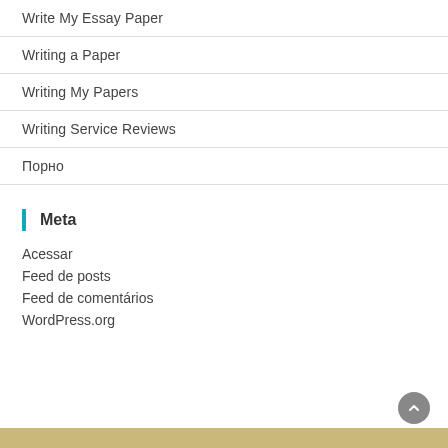Write My Essay Paper
Writing a Paper
Writing My Papers
Writing Service Reviews
Порно
Meta
Acessar
Feed de posts
Feed de comentários
WordPress.org